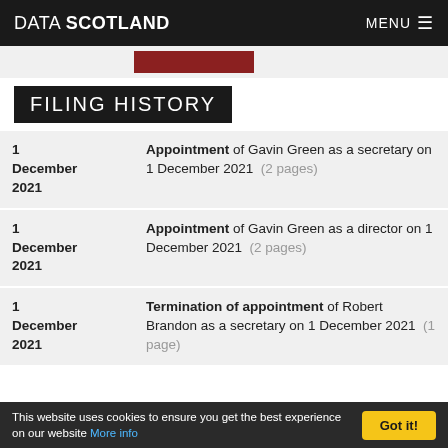DATA SCOTLAND    MENU ≡
FILING HISTORY
1 December 2021 — Appointment of Gavin Green as a secretary on 1 December 2021 (2 pages)
1 December 2021 — Appointment of Gavin Green as a director on 1 December 2021 (2 pages)
1 December 2021 — Termination of appointment of Robert Brandon as a secretary on 1 December 2021 (1 page)
This website uses cookies to ensure you get the best experience on our website More info   Got it!